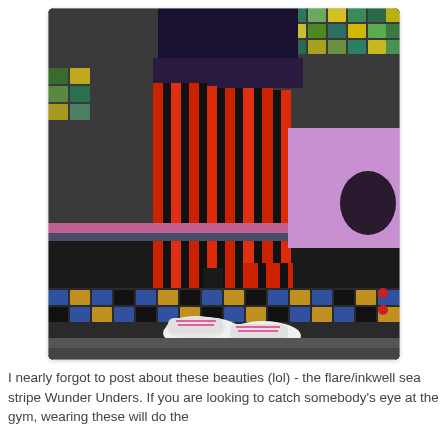[Figure (photo): A person wearing red and black vertical striped capri leggings and white/pink sneakers, standing in front of a colorful mosaic tile wall with purple, blue, green, yellow and gold tiles. The person's torso is cropped showing a dark top. The leggings are form-fitting athletic wear with bold vertical stripes.]
I nearly forgot to post about these beauties (lol) - the flare/inkwell sea stripe Wunder Unders. If you are looking to catch somebody's eye at the gym, wearing these will do the